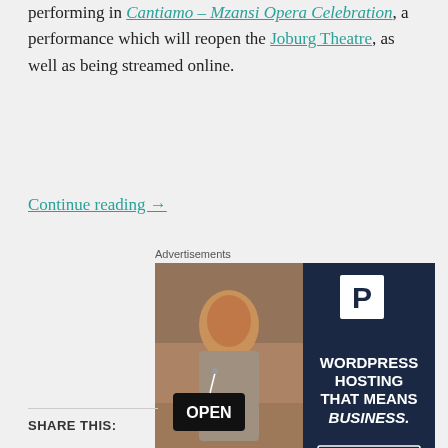performing in Cantiamo – Mzansi Opera Celebration, a performance which will reopen the Joburg Theatre, as well as being streamed online.
Continue reading →
Advertisements
[Figure (photo): Advertisement for WordPress Hosting showing a woman holding an OPEN sign, with text: WORDPRESS HOSTING THAT MEANS BUSINESS. LEARN MORE]
REPORT THIS AD
SHARE THIS: